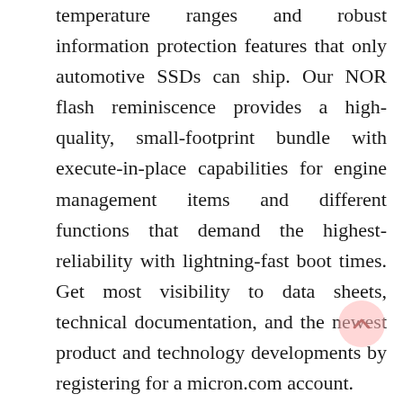temperature ranges and robust information protection features that only automotive SSDs can ship. Our NOR flash reminiscence provides a high-quality, small-footprint bundle with execute-in-place capabilities for engine management items and different functions that demand the highest-reliability with lightning-fast boot times. Get most visibility to data sheets, technical documentation, and the newest product and technology developments by registering for a micron.com account.

When these LCGC automobiles had been launched, they initially had a price list of